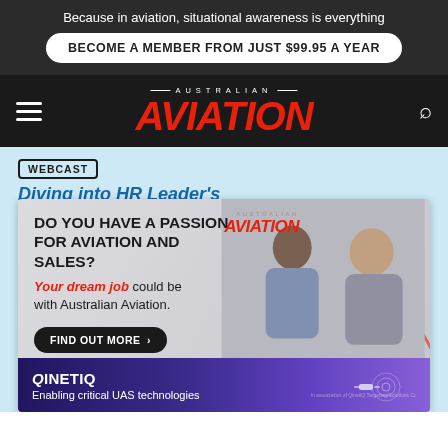Because in aviation, situational awareness is everything
BECOME A MEMBER FROM JUST $99.95 A YEAR
AUSTRALIAN AVIATION
WEBCAST
Diving into HR Leader's
[Figure (photo): Australian Aviation advertisement: 'DO YOU HAVE A PASSION FOR AVIATION AND SALES? Your dream job could be with Australian Aviation. FIND OUT MORE' with photo of two professionals in conversation]
[Figure (photo): QinetIQ advertisement: 'Enabling critical UAS technologies' with purple background and drone imagery]